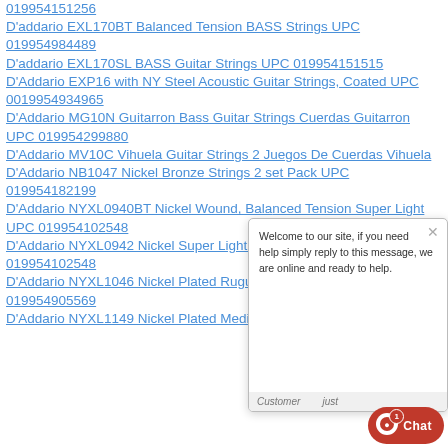019954151256
D'addario EXL170BT Balanced Tension BASS Strings UPC 019954984489
D'addario EXL170SL BASS Guitar Strings UPC 019954151515
D'Addario EXP16 with NY Steel Acoustic Guitar Strings, Coated UPC 0019954934965
D'Addario MG10N Guitarron Bass Guitar Strings Cuerdas Guitarron UPC 019954299880
D'Addario MV10C Vihuela Guitar Strings 2 Juegos De Cuerdas Vihuela
D'Addario NB1047 Nickel Bronze Strings 2 set Pack UPC 019954182199
D'Addario NYXL0940BT Nickel Wound, Balanced Tension Super Light UPC 019954102548
D'Addario NYXL0942 Nickel Super Light Guitar Strings UPC 019954102548
D'Addario NYXL1046 Nickel Plated Rugular Guitar Strings UPC 019954905569
D'Addario NYXL1149 Nickel Plated Medium Guitar
[Figure (screenshot): Live chat widget overlay showing welcome message: 'Welcome to our site, if you need help simply reply to this message, we are online and ready to help.' with a customer chat input area below and a red 'Chat' button with badge showing 1 notification.]